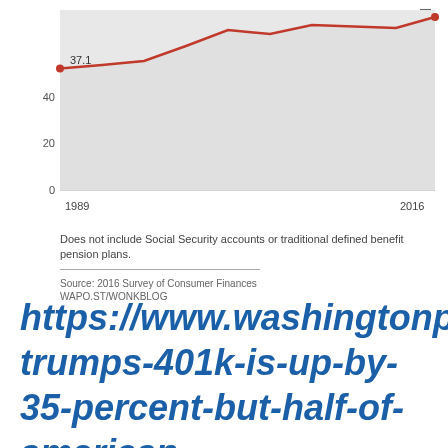[Figure (line-chart): ]
Does not include Social Security accounts or traditional defined benefit pension plans.
Source: 2016 Survey of Consumer Finances
WAPO.ST/WONKBLOG
https://www.washingtonpost.com/news/wonk/wp/2018/01/17/eric-trumps-401k-is-up-by-35-percent-but-half-of-american-